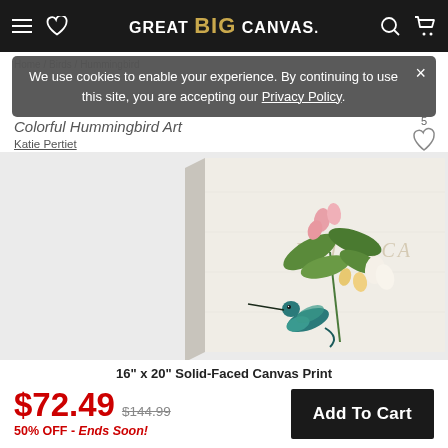GREAT BIG CANVAS.
We use cookies to enable your experience. By continuing to use this site, you are accepting our Privacy Policy.
Home / Birds / Hummingbird
Colorful Hummingbird Art
Katie Pertiet
[Figure (photo): Canvas print of a colorful hummingbird with tropical flowers on a textured cream background, shown as a wrapped canvas with side visible]
16" x 20" Solid-Faced Canvas Print
$72.49  $144.99
50% OFF - Ends Soon!
Add To Cart